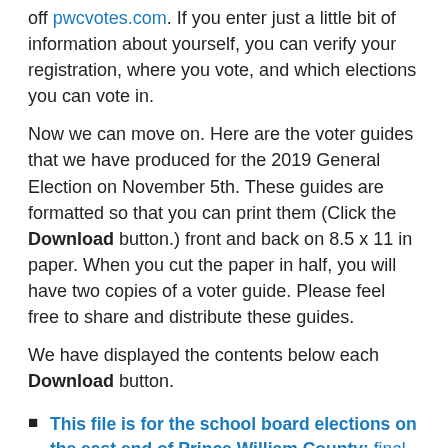off pwcvotes.com. If you enter just a little bit of information about yourself, you can verify your registration, where you vote, and which elections you can vote in.
Now we can move on. Here are the voter guides that we have produced for the 2019 General Election on November 5th. These guides are formatted so that you can print them (Click the Download button.) front and back on 8.5 x 11 in paper. When you cut the paper in half, you will have two copies of a voter guide. Please feel free to share and distribute these guides.
We have displayed the contents below each Download button.
This file is for the school board elections on the east end of Prince William County: final-2019-general-election-school-board-east-end-voter-guide   Download